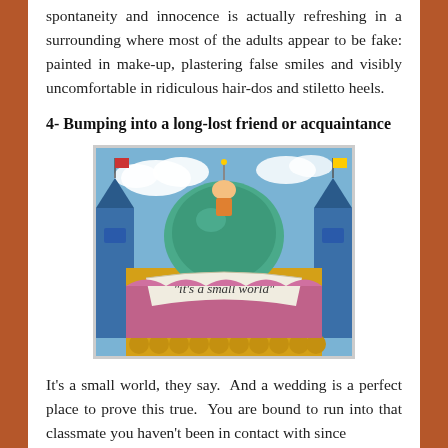spontaneity and innocence is actually refreshing in a surrounding where most of the adults appear to be fake: painted in make-up, plastering false smiles and visibly uncomfortable in ridiculous hair-dos and stiletto heels.
4- Bumping into a long-lost friend or acquaintance
[Figure (photo): Photo of the 'It's a Small World' attraction entrance at a Disney park, showing the colorful facade with a banner reading 'it's a small world', a green and teal dome, and blue and gold architectural details against a blue sky.]
It's a small world, they say.  And a wedding is a perfect place to prove this true.  You are bound to run into that classmate you haven't been in contact with since